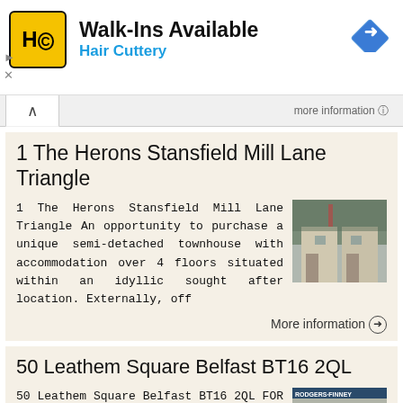[Figure (advertisement): Hair Cuttery advertisement banner with logo, 'Walk-Ins Available' headline, blue subtitle and navigation arrow icon]
1 The Herons Stansfield Mill Lane Triangle
1 The Herons Stansfield Mill Lane Triangle An opportunity to purchase a unique semi-detached townhouse with accommodation over 4 floors situated within an idyllic sought after location. Externally, off
More information →
50 Leathem Square Belfast BT16 2QL
50 Leathem Square Belfast BT16 2QL FOR SALE 165,000 Well presented end townhouse offering excellent accommodation Bright lounge with French